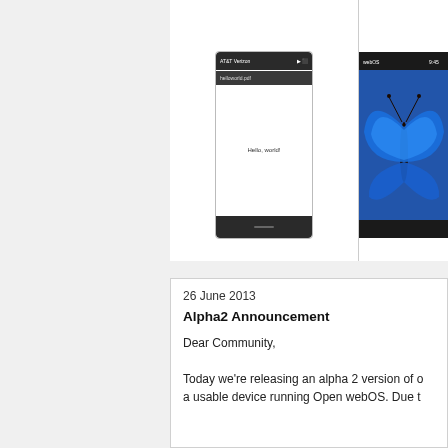[Figure (screenshot): Mobile phone screenshot showing a PDF viewer with 'Hello, world!' text displayed on a white screen, with a dark top navigation bar and bottom toolbar]
[Figure (screenshot): Mobile phone screenshot showing a blue morpho butterfly image on screen, partially cropped]
26 June 2013
Alpha2 Announcement
Dear Community,
Today we're releasing an alpha 2 version of o...
a usable device running Open webOS. Due t...